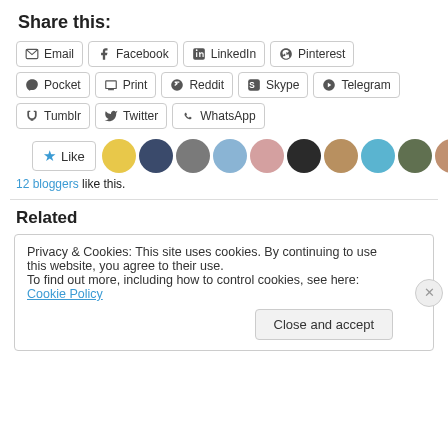Share this:
Email, Facebook, LinkedIn, Pinterest, Pocket, Print, Reddit, Skype, Telegram, Tumblr, Twitter, WhatsApp
[Figure (other): Like button with star icon and 11 blogger avatar images]
12 bloggers like this.
Related
Privacy & Cookies: This site uses cookies. By continuing to use this website, you agree to their use.
To find out more, including how to control cookies, see here: Cookie Policy
Close and accept